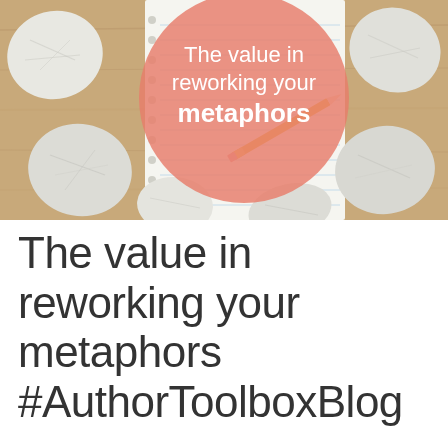[Figure (photo): A photo of crumpled sheets of lined paper scattered on a wooden desk surface, with a notebook open and a pencil resting on it. A large salmon/peach-colored circle overlay contains white text reading 'The value in reworking your metaphors' with 'metaphors' in bold.]
The value in reworking your metaphors #AuthorToolboxBlog